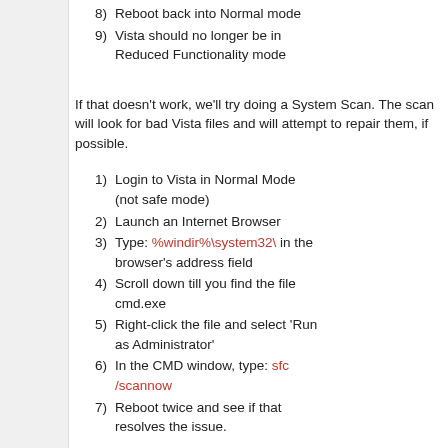8) Reboot back into Normal mode
9) Vista should no longer be in Reduced Functionality mode
If that doesn't work, we'll try doing a System Scan. The scan will look for bad Vista files and will attempt to repair them, if possible.
1) Login to Vista in Normal Mode (not safe mode)
2) Launch an Internet Browser
3) Type: %windir%\system32\ in the browser's address field
4) Scroll down till you find the file cmd.exe
5) Right-click the file and select 'Run as Administrator'
6) In the CMD window, type: sfc /scannow
7) Reboot twice and see if that resolves the issue.
If neither of these sets of steps resolves the issue, my only other suggestions would be either to contact Vista support at http://support.microsoft.com or reinstall